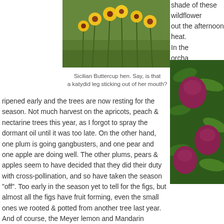[Figure (photo): Photo of yellow wildflowers (Sicilian Buttercup) in a green field]
Sicilian Buttercup hen. Say, is that a katydid leg sticking out of her mouth?
shade of these wildflower out the afternoon heat.
In the orchard, the apricots ripened early and the trees are now resting for the season. Not much harvest on the apricots, peach & nectarine trees this year, as I forgot to spray the dormant oil until it was too late. On the other hand, one plum is going gangbusters, and one pear and one apple are doing well. The other plums, pears & apples seem to have decided that they did their duty with cross-pollination, and so have taken the season "off". Too early in the season yet to tell for the figs, but almost all the figs have fruit forming, even the small ones we rooted & potted from another tree last year. And of course, the Meyer lemon and Mandarin orange are doing well. Still want to add some regular lemons & limes to the potted tree populace.
[Figure (photo): Photo of red/purple plums growing on a tree branch with green leaves]